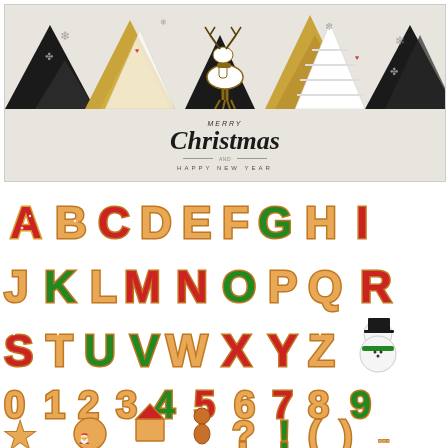[Figure (illustration): Christmas greeting card illustration with geometric gold, black and white Christmas trees, reindeer silhouette, snowflakes, and 'Merry Christmas and Happy New Year' text on a beige/cream background]
[Figure (illustration): Gingerbread cookie alphabet set showing all 26 letters A-Z in red, green, and natural gingerbread colors with white icing dots, plus digits 0-9, and special characters including a star, Santa face, gingerbread house, gingerbread man, question mark, exclamation mark, parentheses, and other symbols. Also includes a candy cane 'S' and snowman 'I' character.]